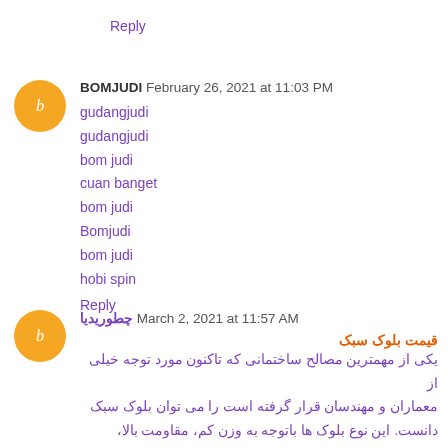Reply
BOMJUDI  February 26, 2021 at 11:03 PM
gudangjudi
gudangjudi
bom judi
cuan banget
bom judi
Bomjudi
bom judi
hobi spin
Reply
چطوریدیا  March 2, 2021 at 11:57 AM
قیمت بلوک سبک
یکی از مهمترین مصالح ساختمانی که تاکنون مورد توجه خیلی از معماران و مهندسان قرار گرفته است را می توان بلوک سبک دانست. این نوع بلوک ها باتوجه به وزن کم، مقاومت بالا، ضریب